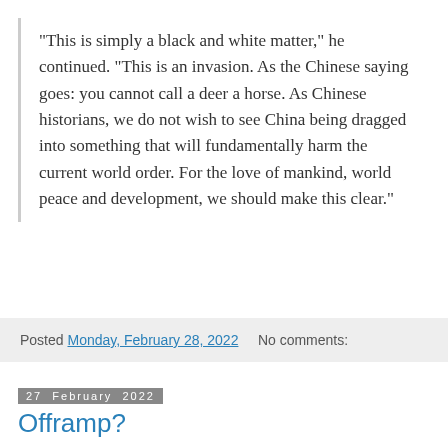"This is simply a black and white matter," he continued. "This is an invasion. As the Chinese saying goes: you cannot call a deer a horse. As Chinese historians, we do not wish to see China being dragged into something that will fundamentally harm the current world order. For the love of mankind, world peace and development, we should make this clear."
Posted Monday, February 28, 2022   No comments:
27 February 2022
Offramp?
I certainly get the point that you don't want to reward bad international behavior. But, as a purely pragmatic matter, I hope that Western countries are communicating suggestions to Zelenskiy for some sort of feasible offramp